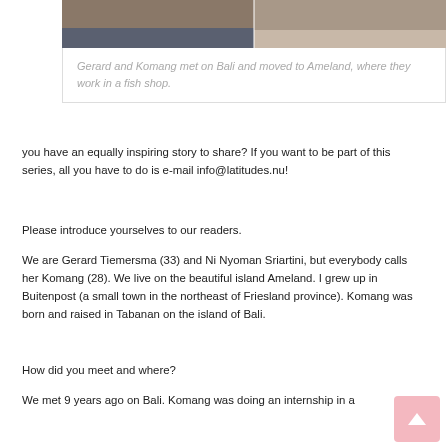[Figure (photo): Cropped photo of Gerard and Komang, visible at top of page]
Gerard and Komang met on Bali and moved to Ameland, where they work in a fish shop.
you have an equally inspiring story to share? If you want to be part of this series, all you have to do is e-mail info@latitudes.nu!
Please introduce yourselves to our readers.
We are Gerard Tiemersma (33) and Ni Nyoman Sriartini, but everybody calls her Komang (28). We live on the beautiful island Ameland. I grew up in Buitenpost (a small town in the northeast of Friesland province). Komang was born and raised in Tabanan on the island of Bali.
How did you meet and where?
We met 9 years ago on Bali. Komang was doing an internship in a